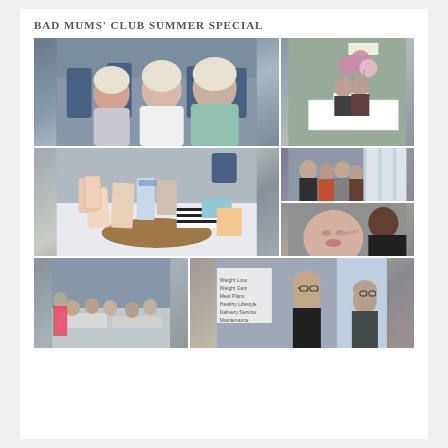BAD MUMS' CLUB SUMMER SPECIAL
[Figure (photo): Three older women sitting in blue chairs at an event, smiling at the camera]
[Figure (photo): Room with balloons and a vendor table with sign]
[Figure (photo): Table display with cards, stationery, and craft items on a wooden board]
[Figure (photo): Group of women standing in a bright room]
[Figure (photo): Close-up of someone applying makeup to a woman]
[Figure (photo): People seated at tables in a hall]
[Figure (photo): Woman speaking to others with weight loss service sign visible]